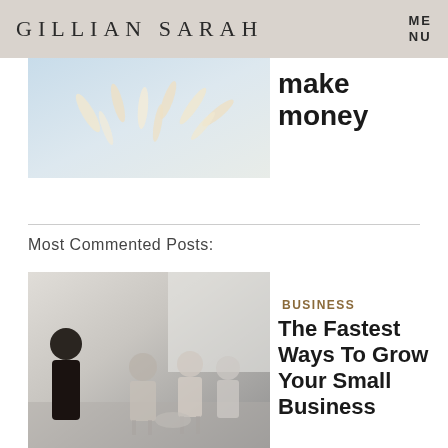GILLIAN SARAH | MENU
[Figure (photo): Blurred photo of feathers or similar light objects on a light blue background]
make money
Most Commented Posts:
[Figure (photo): Photo of a business meeting scene with women sitting and a presenter in the foreground]
Business
The Fastest Ways To Grow Your Small Business